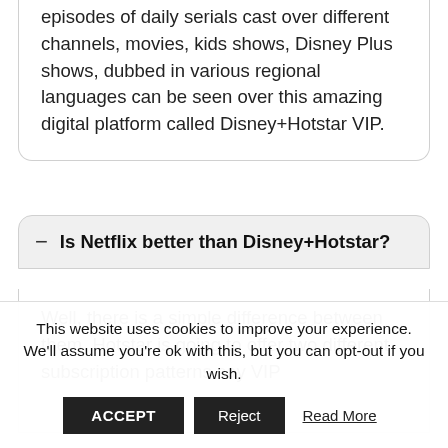episodes of daily serials cast over different channels, movies, kids shows, Disney Plus shows, dubbed in various regional languages can be seen over this amazing digital platform called Disney+Hotstar VIP.
− Is Netflix better than Disney+Hotstar?
Well, there is a simple difference between them. Hotstar is going to offer two different subscription patterns say VIP
This website uses cookies to improve your experience. We'll assume you're ok with this, but you can opt-out if you wish.